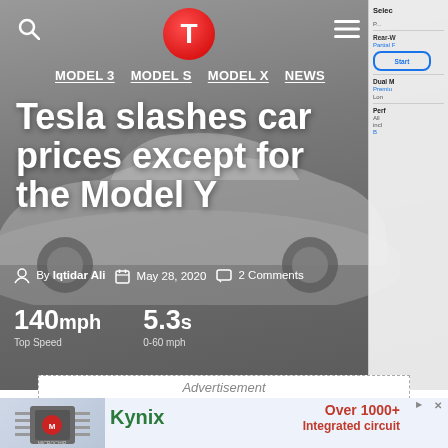[Figure (screenshot): Tesla news website hero section showing a grayscale Tesla car image with navigation bar including a T logo, search icon, hamburger menu, and nav links MODEL 3, MODEL S, MODEL X, NEWS. Right panel shows vehicle configurator options.]
Tesla slashes car prices except for the Model Y
By Iqtidar Ali   May 28, 2020   2 Comments
140mph Top Speed   5.3s 0-60 mph
Advertisement
[Figure (screenshot): Kynix advertisement banner with green Kynix logo, microchip image, and red text: Over 1000+ Integrated circuit chip products]